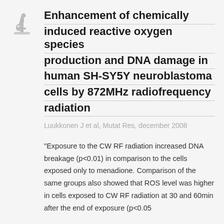[Figure (logo): Microscope icon in gray]
Enhancement of chemically induced reactive oxygen species production and DNA damage in human SH-SY5Y neuroblastoma cells by 872MHz radiofrequency radiation
Luukkonen J et al, Mutat Res, december 2008
"Exposure to the CW RF radiation increased DNA breakage (p<0.01) in comparison to the cells exposed only to menadione. Comparison of the same groups also showed that ROS level was higher in cells exposed to CW RF radiation at 30 and 60min after the end of exposure (p<0.05